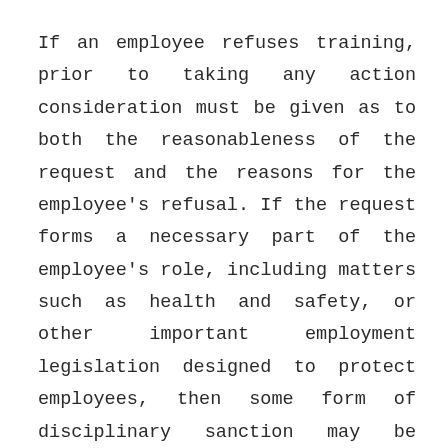If an employee refuses training, prior to taking any action consideration must be given as to both the reasonableness of the request and the reasons for the employee's refusal. If the request forms a necessary part of the employee's role, including matters such as health and safety, or other important employment legislation designed to protect employees, then some form of disciplinary sanction may be warranted.
Any disciplinary action for a failure to carry out a reasonable training instruction, like all